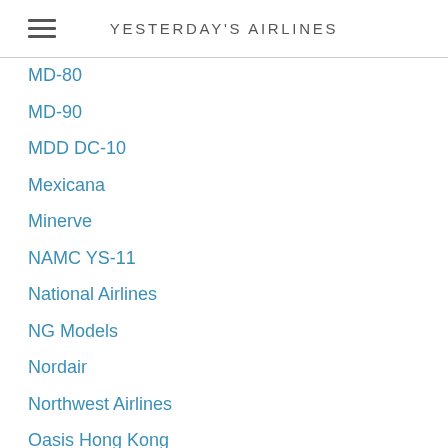YESTERDAY'S AIRLINES
MD-80
MD-90
MDD DC-10
Mexicana
Minerve
NAMC YS-11
National Airlines
NG Models
Nordair
Northwest Airlines
Oasis Hong Kong
Oceania Airlines
Ozark Air Lines
Panagra
Pan Am
Panda Models
Phoenix Models
Piedmont Airlines